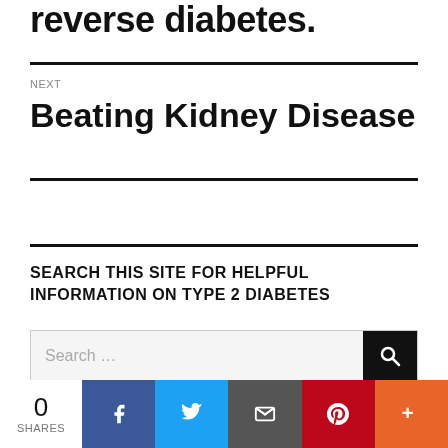reverse diabetes.
NEXT
Beating Kidney Disease
SEARCH THIS SITE FOR HELPFUL INFORMATION ON TYPE 2 DIABETES
Search ...
0 SHARES